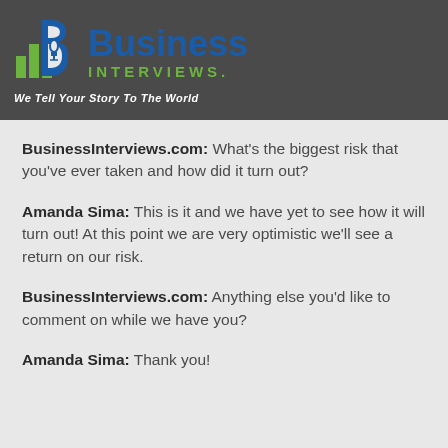[Figure (logo): Business Interviews logo with bar chart and microphone icon, tagline 'We Tell Your Story To The World']
BusinessInterviews.com: What's the biggest risk that you've ever taken and how did it turn out?
Amanda Sima: This is it and we have yet to see how it will turn out! At this point we are very optimistic we'll see a return on our risk.
BusinessInterviews.com: Anything else you'd like to comment on while we have you?
Amanda Sima: Thank you!